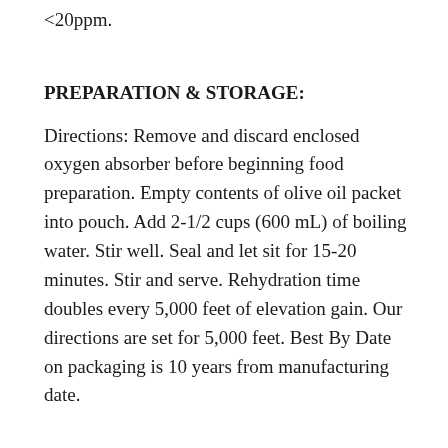<20ppm.
PREPARATION & STORAGE:
Directions: Remove and discard enclosed oxygen absorber before beginning food preparation. Empty contents of olive oil packet into pouch. Add 2-1/2 cups (600 mL) of boiling water. Stir well. Seal and let sit for 15-20 minutes. Stir and serve. Rehydration time doubles every 5,000 feet of elevation gain. Our directions are set for 5,000 feet. Best By Date on packaging is 10 years from manufacturing date.